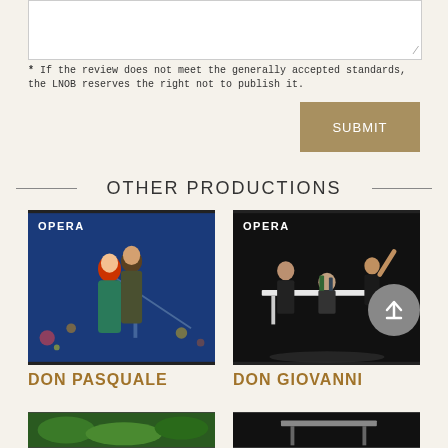[Figure (screenshot): Text input textarea with resize handle at bottom right]
* If the review does not meet the generally accepted standards, the LNOB reserves the right not to publish it.
SUBMIT
OTHER PRODUCTIONS
[Figure (photo): Opera production photo showing two performers in romantic pose on stage stairs with blue backdrop, labeled OPERA. Title: DON PASQUALE]
[Figure (photo): Opera production photo showing ensemble of performers around a table in dark staging, labeled OPERA. Title: DON GIOVANNI]
DON PASQUALE
DON GIOVANNI
[Figure (photo): Partial bottom image, green foliage]
[Figure (photo): Partial bottom image, dark scene]